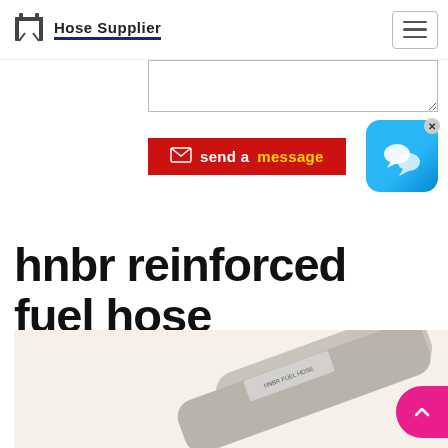Hose Supplier
[Figure (screenshot): Text area input box (empty)]
[Figure (other): Red 'send a message' button with envelope icon]
[Figure (other): Blue chat widget popup with speech bubbles and close X]
hnbr reinforced fuel hose
[Figure (photo): Product photo of hnbr reinforced fuel hose, partially visible at bottom of page]